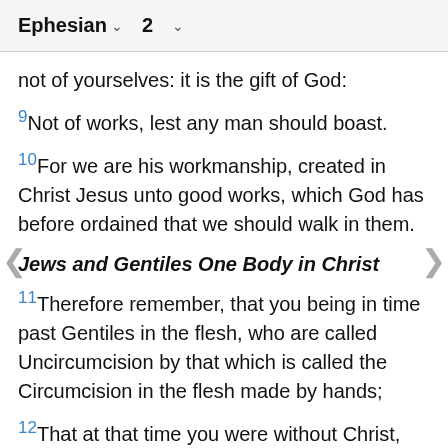Ephesian 2
not of yourselves: it is the gift of God:
9 Not of works, lest any man should boast.
10 For we are his workmanship, created in Christ Jesus unto good works, which God has before ordained that we should walk in them.
Jews and Gentiles One Body in Christ
11 Therefore remember, that you being in time past Gentiles in the flesh, who are called Uncircumcision by that which is called the Circumcision in the flesh made by hands;
12 That at that time you were without Christ, being aliens from the commonwealth of Israel, and strangers from the covenants of promise, having no hope, and without God in the world:
13 But now in Christ Jesus you who once were far off